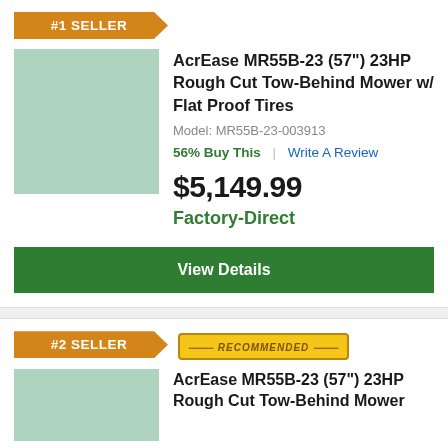[Figure (other): #1 SELLER banner badge in orange]
[Figure (photo): Product image placeholder for AcrEase MR55B-23 mower, light green rectangle]
AcrEase MR55B-23 (57") 23HP Rough Cut Tow-Behind Mower w/ Flat Proof Tires
Model: MR55B-23-003913
56% Buy This | Write A Review
$5,149.99
Factory-Direct
View Details
[Figure (other): #2 SELLER banner badge in orange]
[Figure (other): RECOMMENDED badge in gold/yellow]
AcrEase MR55B-23 (57") 23HP Rough Cut Tow-Behind Mower
[Figure (photo): Product image placeholder for second mower, light green rectangle]